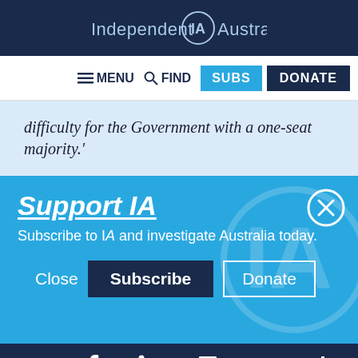Independent IA Australia
[Figure (screenshot): Navigation bar with MENU, FIND, SUBS, DONATE buttons]
difficulty for the Government with a one-seat majority.'
Support IA
Subscribe to IA and investigate Australia today.
[Figure (screenshot): Support IA overlay with Close, Subscribe, Donate buttons and X close button]
Social media icons: Twitter, Facebook, LinkedIn, Flipboard, Link, Plus